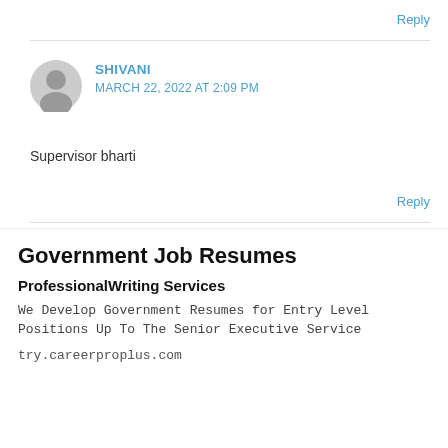Reply
[Figure (illustration): Gray circular user avatar icon]
SHIVANI
MARCH 22, 2022 AT 2:09 PM
Supervisor bharti
Reply
Government Job Resumes
ProfessionalWriting Services
We Develop Government Resumes for Entry Level Positions Up To The Senior Executive Service
try.careerproplus.com